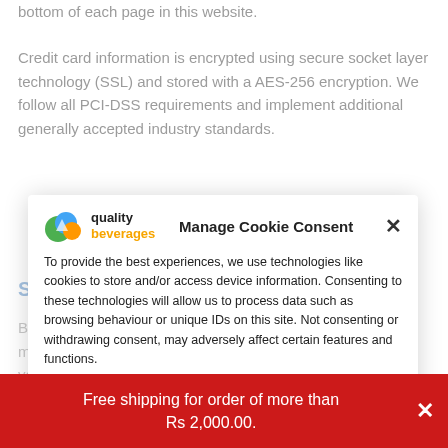bottom of each page in this website.
Credit card information is encrypted using secure socket layer technology (SSL) and stored with a AES-256 encryption. We follow all PCI-DSS requirements and implement additional generally accepted industry standards.
SECTION 7 – AGE OF CONSENT
By using this site, you represent that you are the age of majority, and you have given us your consent to allow any of your minor dependents to use this site.
[Figure (screenshot): Cookie consent modal popup with Quality Beverages logo, title 'Manage Cookie Consent', explanatory text about cookies, Accept button, Deny button, and View preferences button]
Free shipping for order of more than Rs 2,000.00.